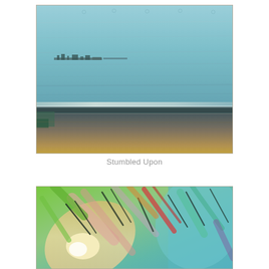[Figure (illustration): Abstract seascape painting titled 'Stumbled Upon'. Features a horizontal composition with a large blue-grey sky taking up the upper two-thirds, and a darker earthy sandy shore in the lower third. A faint distant shoreline or pier silhouette visible in the middle distance. Mixed media textured painting with muted tones of blue, grey, brown, and gold.]
Stumbled Upon
[Figure (illustration): Abstract colorful painting with dynamic diagonal brushstrokes in bright green, teal, pink, red, orange, and blue. Swirling, energetic composition suggesting foliage or abstract natural forms. Mixed media with bold gestural marks.]